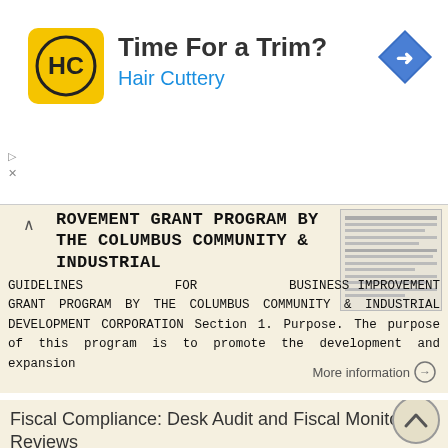[Figure (infographic): Hair Cuttery advertisement banner with logo, 'Time For a Trim?' headline, and navigation icon]
ROVEMENT GRANT PROGRAM BY THE COLUMBUS COMMUNITY & INDUSTRIAL
GUIDELINES FOR BUSINESS IMPROVEMENT GRANT PROGRAM BY THE COLUMBUS COMMUNITY & INDUSTRIAL DEVELOPMENT CORPORATION Section 1. Purpose. The purpose of this program is to promote the development and expansion
More information →
Fiscal Compliance: Desk Audit and Fiscal Monitoring Reviews
Fiscal Compliance: Desk Audit and Fiscal Monitoring Reviews Denise Dusek, MPA